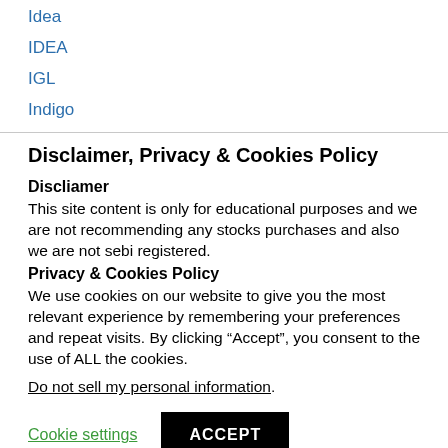Idea
IDEA
IGL
Indigo
Disclaimer, Privacy & Cookies Policy
Discliamer
This site content is only for educational purposes and we are not recommending any stocks purchases and also we are not sebi registered.
Privacy & Cookies Policy
We use cookies on our website to give you the most relevant experience by remembering your preferences and repeat visits. By clicking “Accept”, you consent to the use of ALL the cookies.
Do not sell my personal information.
Cookie settings
ACCEPT